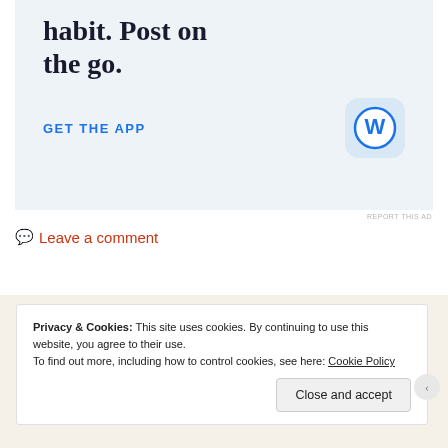[Figure (illustration): WordPress app advertisement banner with text 'Build a writing habit. Post on the go.' and a 'GET THE APP' link with WordPress logo icon on a light blue-grey background.]
REPORT THIS AD
Leave a comment
Privacy & Cookies: This site uses cookies. By continuing to use this website, you agree to their use.
To find out more, including how to control cookies, see here: Cookie Policy
Close and accept